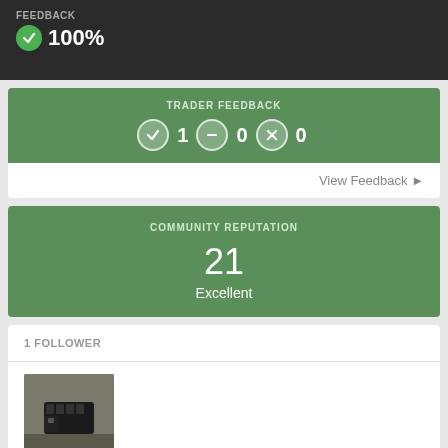FEEDBACK
100%
TRADER FEEDBACK
✓ 1  − 0  ✗ 0
View Feedback ▶
COMMUNITY REPUTATION
21
Excellent
1 FOLLOWER
[Figure (photo): Follower avatar thumbnail showing a firearm accessory (handguard/rail system) on a surface background]
ABOUT TED527